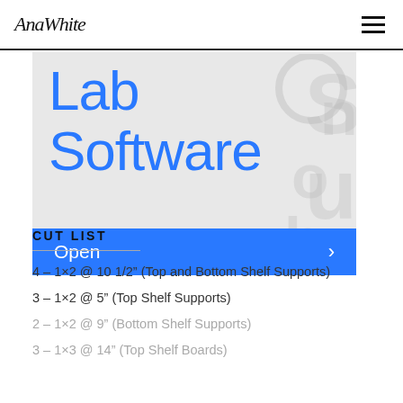AnaWhite
[Figure (screenshot): Banner image showing 'Lab Software' text in large blue font on light grey background with watermark, and a blue 'Open >' button at the bottom]
CUT LIST
4 – 1×2 @ 10 1/2" (Top and Bottom Shelf Supports)
3 – 1×2 @ 5" (Top Shelf Supports)
2 – 1×2 @ 9" (Bottom Shelf Supports)
3 – 1×3 @ 14" (Top Shelf Boards)